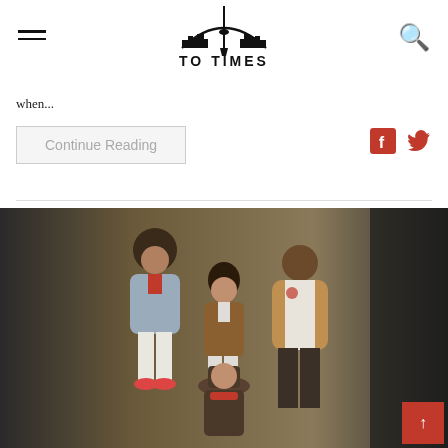TO TIMES
when...
Continue Reading
[Figure (photo): Group of four people posing in Canada Goose outdoor apparel against a dark studio background.]
↑